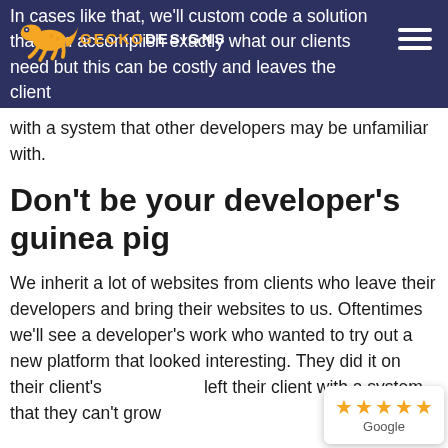GECKO DESIGNS
In cases like that, we'll custom code a solution that can accomplish exactly what our clients need but this can be costly and leaves the client with a system that other developers may be unfamiliar with.
Don't be your developer's guinea pig
We inherit a lot of websites from clients who leave their developers and bring their websites to us. Oftentimes we'll see a developer's work who wanted to try out a new platform that looked interesting. They did it on their client's [★★★★★ Google] left their client with a system that they can't grow